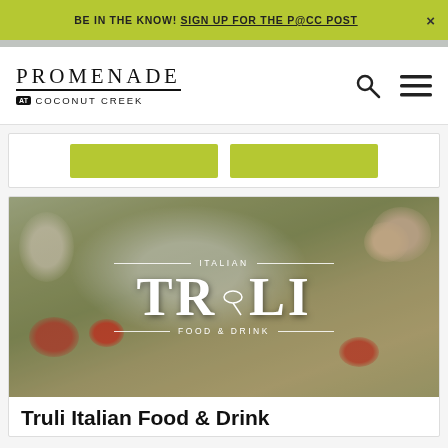BE IN THE KNOW! SIGN UP FOR THE P@CC POST ×
[Figure (logo): Promenade at Coconut Creek logo with search and menu icons]
[Figure (photo): Two green button stubs in a white card]
[Figure (photo): Truli Italian Food & Drink restaurant card with food photo and logo overlay]
Truli Italian Food & Drink